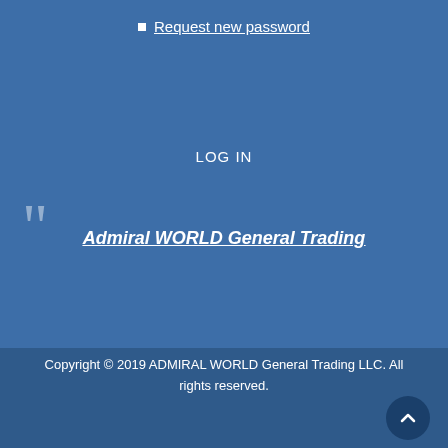Request new password
LOG IN
Admiral WORLD General Trading
Copyright © 2019 ADMIRAL WORLD General Trading LLC. All rights reserved.